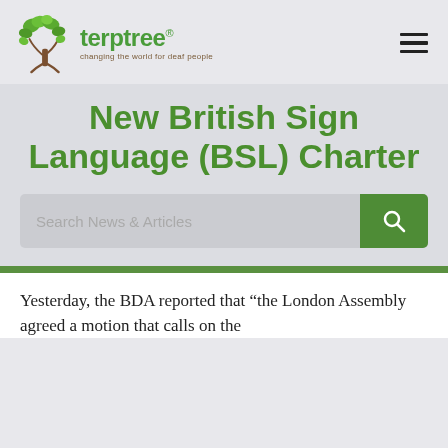[Figure (logo): Terptree logo with tree icon and tagline 'changing the world for deaf people']
New British Sign Language (BSL) Charter
Search News & Articles
Yesterday, the BDA reported that “the London Assembly agreed a motion that calls on the